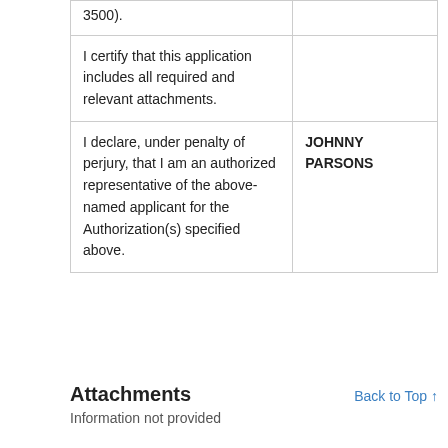|  |  |
| --- | --- |
| 3500). |  |
| I certify that this application includes all required and relevant attachments. |  |
| I declare, under penalty of perjury, that I am an authorized representative of the above-named applicant for the Authorization(s) specified above. | JOHNNY PARSONS |
Attachments
Back to Top ↑
Information not provided